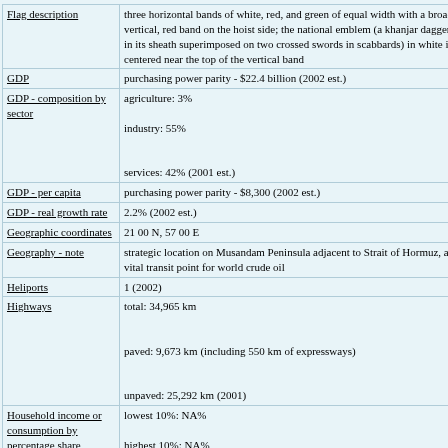| Field | Value |
| --- | --- |
| Flag description | three horizontal bands of white, red, and green of equal width with a broad, vertical, red band on the hoist side; the national emblem (a khanjar dagger in its sheath superimposed on two crossed swords in scabbards) in white is centered near the top of the vertical band |
| GDP | purchasing power parity - $22.4 billion (2002 est.) |
| GDP - composition by sector | agriculture: 3%
industry: 55%
services: 42% (2001 est.) |
| GDP - per capita | purchasing power parity - $8,300 (2002 est.) |
| GDP - real growth rate | 2.2% (2002 est.) |
| Geographic coordinates | 21 00 N, 57 00 E |
| Geography - note | strategic location on Musandam Peninsula adjacent to Strait of Hormuz, a vital transit point for world crude oil |
| Heliports | 1 (2002) |
| Highways | total: 34,965 km
paved: 9,673 km (including 550 km of expressways)
unpaved: 25,292 km (2001) |
| Household income or consumption by percentage share | lowest 10%: NA%
highest 10%: NA% |
| Imports | 0 kWh (2001) |
| Imports | $5.5 billion f.o.b. (2002 est.) |
| Imports | 0 cu m (2001 est.) |
| Imports | NA (2001) |
| Imports | machinery and transportation equipment, manufactured goods, food, livestock, lubricants |